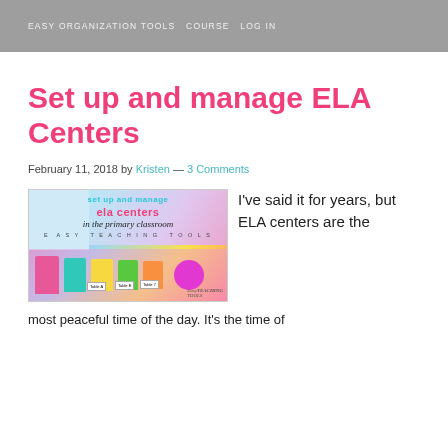EASY ORGANIZATION TOOLS COURSE LOG IN
Set up and manage ELA Centers
February 11, 2018 by Kristen — 3 Comments
[Figure (photo): Blog post header image: 'Set up and manage ela centers in the primary classroom - Easy Teaching Tools' with colorful table supply bins labeled Table A, Table E, Table 7 in foreground]
I've said it for years, but ELA centers are the most peaceful time of the day. It's the time of